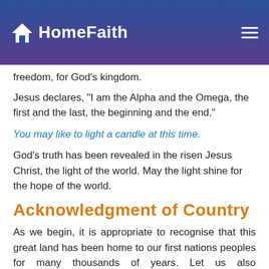HomeFaith
freedom, for God's kingdom.
Jesus declares, “I am the Alpha and the Omega, the first and the last, the beginning and the end.”
You may like to light a candle at this time.
God’s truth has been revealed in the risen Jesus Christ, the light of the world. May the light shine for the hope of the world.
Acknowledgment of Country
As we begin, it is appropriate to recognise that this great land has been home to our first nations peoples for many thousands of years. Let us also acknowledge those Aboriginal peoples who are the first inhabitants of the